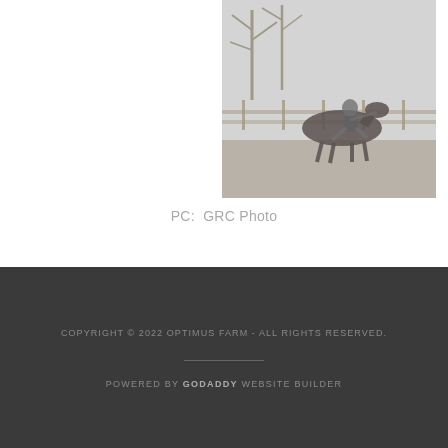[Figure (photo): A faded/muted photograph of a person riding a horse outdoors, with bare winter trees in the background. The image is positioned in the upper-right portion of the page.]
PC:  GRC Photo
COPYRIGHT © 2022 OPTIMUS FARM - ALL RIGHTS RESERVED.

POWERED BY GODADDY WEBSITE BUILDER